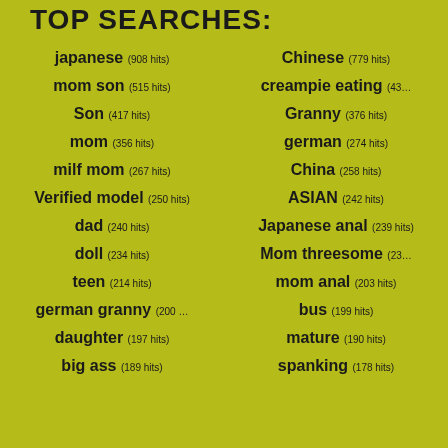TOP SEARCHES:
japanese (908 hits)
Chinese (779 hits)
mom son (515 hits)
creampie eating (43…
Son (417 hits)
Granny (376 hits)
mom (356 hits)
german (274 hits)
milf mom (267 hits)
China (258 hits)
Verified model (250 hits)
ASIAN (242 hits)
dad (240 hits)
Japanese anal (239 hits)
doll (234 hits)
Mom threesome (23…
teen (214 hits)
mom anal (203 hits)
german granny (200 …
bus (199 hits)
daughter (197 hits)
mature (190 hits)
big ass (189 hits)
spanking (178 hits)